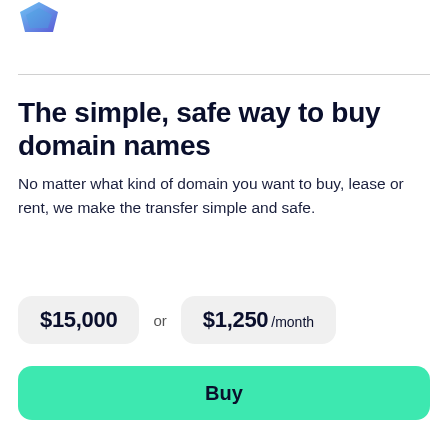[Figure (logo): Blue/purple shield or gem logo in upper left corner]
The simple, safe way to buy domain names
No matter what kind of domain you want to buy, lease or rent, we make the transfer simple and safe.
$15,000 or $1,250 /month
Buy